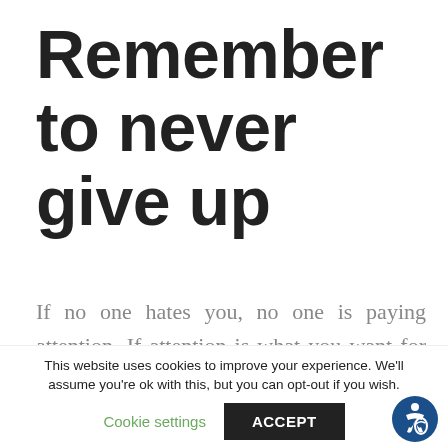Remember to never give up
If no one hates you, no one is paying attention. If attention is what you want for vanity, confidence, or, hell—to make a decent living—then know that it's not instantaneous. Every single person that
This website uses cookies to improve your experience. We'll assume you're ok with this, but you can opt-out if you wish.
Cookie settings   ACCEPT